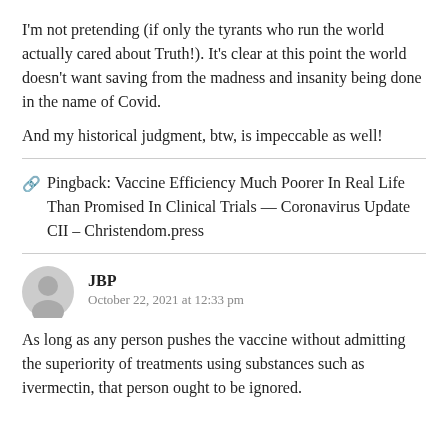I'm not pretending (if only the tyrants who run the world actually cared about Truth!). It's clear at this point the world doesn't want saving from the madness and insanity being done in the name of Covid.
And my historical judgment, btw, is impeccable as well!
Pingback: Vaccine Efficiency Much Poorer In Real Life Than Promised In Clinical Trials — Coronavirus Update CII – Christendom.press
JBP
October 22, 2021 at 12:33 pm
As long as any person pushes the vaccine without admitting the superiority of treatments using substances such as ivermectin, that person ought to be ignored.